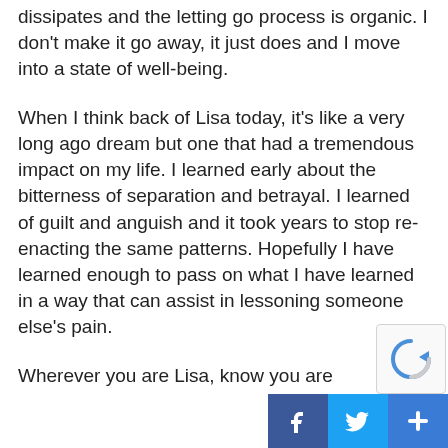dissipates and the letting go process is organic. I don't make it go away, it just does and I move into a state of well-being.
When I think back of Lisa today, it's like a very long ago dream but one that had a tremendous impact on my life. I learned early about the bitterness of separation and betrayal. I learned of guilt and anguish and it took years to stop re-enacting the same patterns. Hopefully I have learned enough to pass on what I have learned in a way that can assist in lessoning someone else's pain.
Wherever you are Lisa, know you are